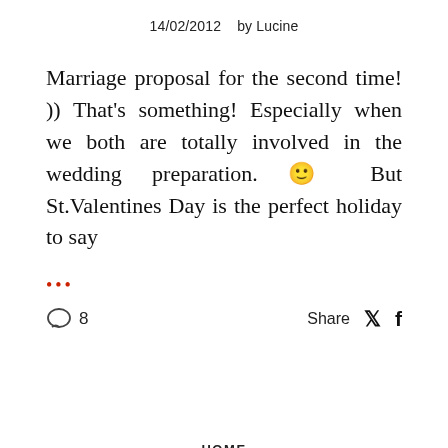14/02/2012   by Lucine
Marriage proposal for the second time! )) That's something! Especially when we both are totally involved in the wedding preparation. 🙂 But St.Valentines Day is the perfect holiday to say
•••
💬 8   Share 🐦 f
HOME
SCANDINAVIAN MOTIVES